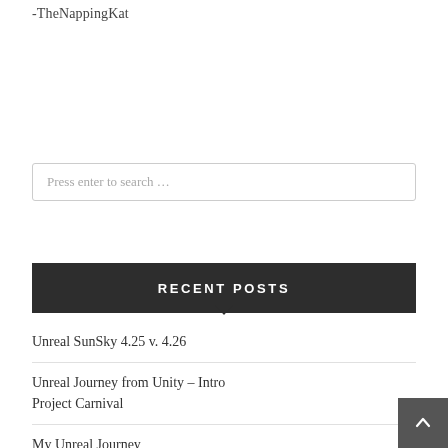-TheNappingKat
Press enter to search …
RECENT POSTS
Unreal SunSky 4.25 v. 4.26
Unreal Journey from Unity – Intro Project Carnival
My Unreal Journey